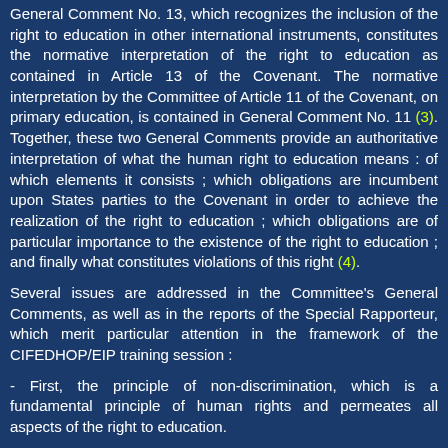General Comment No. 13, which recognizes the inclusion of the right to education in other international instruments, constitutes the normative interpretation of the right to education as contained in Article 13 of the Covenant. The normative interpretation by the Committee of Article 11 of the Covenant, on primary education, is contained in General Comment No. 11 (3). Together, these two General Comments provide an authoritative interpretation of what the human right to education means : of which elements it consists ; which obligations are incumbent upon States parties to the Covenant in order to achieve the realization of the right to education ; which obligations are of particular importance to the existence of the right to education ; and finally what constitutes violations of this right (4).
Several issues are addressed in the Committee's General Comments, as well as in the reports of the Special Rapporteur, which merit particular attention in the framework of the CIFEDHOP/EIP training session :
- First, the principle of non-discrimination, which is a fundamental principle of human rights and permeates all aspects of the right to education.
- Secondly, a framework as used by the Committee in General Comment No. 13, which is useful in determining the …